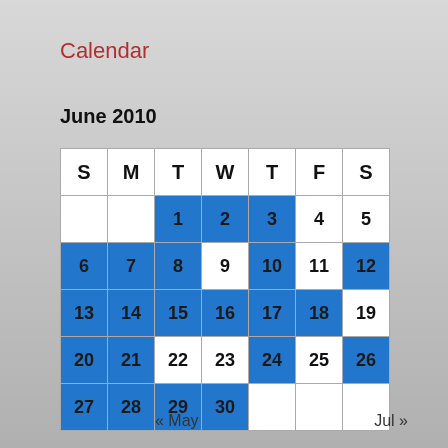Calendar
June 2010
| S | M | T | W | T | F | S |
| --- | --- | --- | --- | --- | --- | --- |
|  |  | 1 | 2 | 3 | 4 | 5 |
| 6 | 7 | 8 | 9 | 10 | 11 | 12 |
| 13 | 14 | 15 | 16 | 17 | 18 | 19 |
| 20 | 21 | 22 | 23 | 24 | 25 | 26 |
| 27 | 28 | 29 | 30 |  |  |  |
« May
Jul »